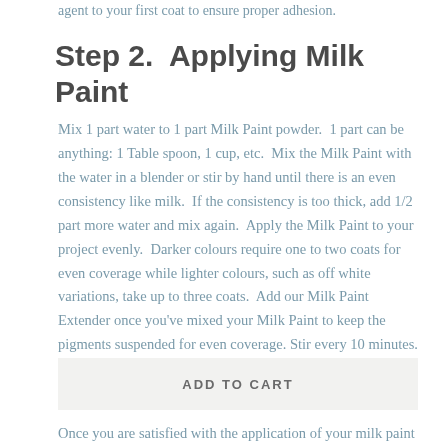agent to your first coat to ensure proper adhesion.
Step 2.  Applying Milk Paint
Mix 1 part water to 1 part Milk Paint powder.  1 part can be anything: 1 Table spoon, 1 cup, etc.  Mix the Milk Paint with the water in a blender or stir by hand until there is an even consistency like milk.  If the consistency is too thick, add 1/2 part more water and mix again.  Apply the Milk Paint to your project evenly.  Darker colours require one to two coats for even coverage while lighter colours, such as off white variations, take up to three coats.  Add our Milk Paint Extender once you've mixed your Milk Paint to keep the pigments suspended for even coverage. Stir every 10 minutes.
ADD TO CART
Once you are satisfied with the application of your milk paint